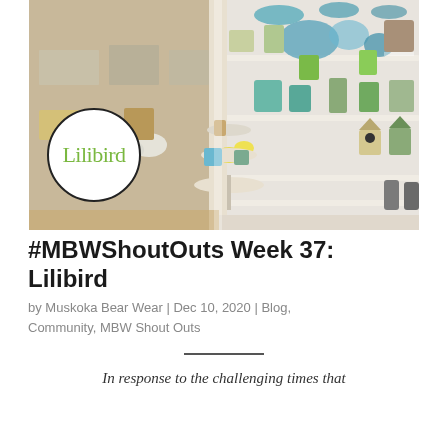[Figure (photo): Interior of Lilibird store showing shelves filled with decorative items, birdhouses, flowers, and gifts. A white circular logo with 'Lilibird' in green text is overlaid in the bottom-left corner of the photo.]
#MBWShoutOuts Week 37: Lilibird
by Muskoka Bear Wear | Dec 10, 2020 | Blog, Community, MBW Shout Outs
In response to the challenging times that